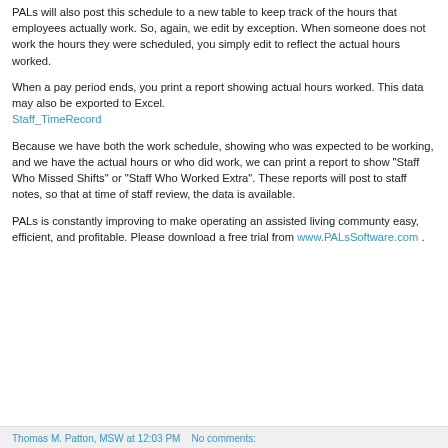PALs will also post this schedule to a new table to keep track of the hours that employees actually work. So, again, we edit by exception. When someone does not work the hours they were scheduled, you simply edit to reflect the actual hours worked.
When a pay period ends, you print a report showing actual hours worked. This data may also be exported to Excel. Staff_TimeRecord
Because we have both the work schedule, showing who was expected to be working, and we have the actual hours or who did work, we can print a report to show "Staff Who Missed Shifts" or "Staff Who Worked Extra". These reports will post to staff notes, so that at time of staff review, the data is available.
PALs is constantly improving to make operating an assisted living communty easy, efficient, and profitable. Please download a free trial from www.PALsSoftware.com .
Thomas M. Patton, MSW at 12:03 PM   No comments: